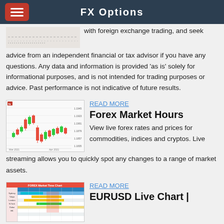FX Options
with foreign exchange trading, and seek advice from an independent financial or tax advisor if you have any questions. Any data and information is provided 'as is' solely for informational purposes, and is not intended for trading purposes or advice. Past performance is not indicative of future results.
[Figure (continuous-plot): Forex candlestick chart showing red and green candlesticks with price levels on y-axis]
READ MORE
Forex Market Hours
View live forex rates and prices for commodities, indices and cryptos. Live streaming allows you to quickly spot any changes to a range of market assets.
[Figure (table-as-image): FOREX Market Time Chart showing sessions in colored grid format]
READ MORE
EURUSD Live Chart |